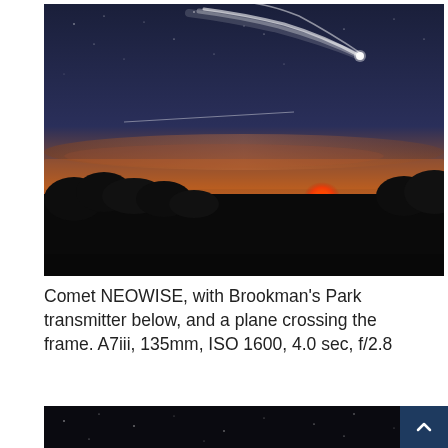[Figure (photo): Night sky photograph showing Comet NEOWISE with a bright tail visible in the upper right portion of the frame. A orange/red glowing light (Brookman's Park transmitter) sits on the horizon. Silhouetted trees and landscape fill the foreground. The sky transitions from deep dark blue at the top to warm orange at the horizon. A plane trail crosses the frame.]
Comet NEOWISE, with Brookman's Park transmitter below, and a plane crossing the frame. A7iii, 135mm, ISO 1600, 4.0 sec, f/2.8
[Figure (photo): Partial view of another night sky photograph showing stars against a dark background, cropped at the bottom of the page.]